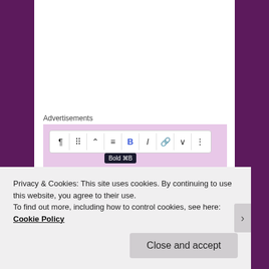Advertisements
[Figure (screenshot): WordPress Site Editor advertisement showing a toolbar with Bold (⌘B) tooltip active, text reading 'Customize everything on your site with the new Site Editor.' on a pink background, with a 'Start Today' dark button below.]
Privacy & Cookies: This site uses cookies. By continuing to use this website, you agree to their use.
To find out more, including how to control cookies, see here: Cookie Policy
Close and accept